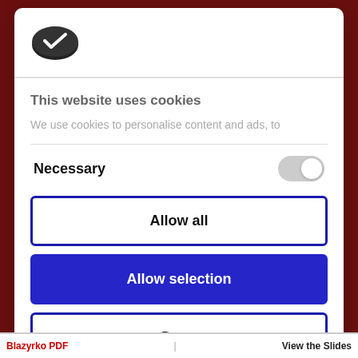[Figure (logo): Cookie consent logo — dark oval with white checkmark]
This website uses cookies
We use cookies to personalise content and ads, to
Necessary
Allow all
Allow selection
Deny
Powered by Cookiebot by Usercentrics
Blazyrko PDF    View the Slides